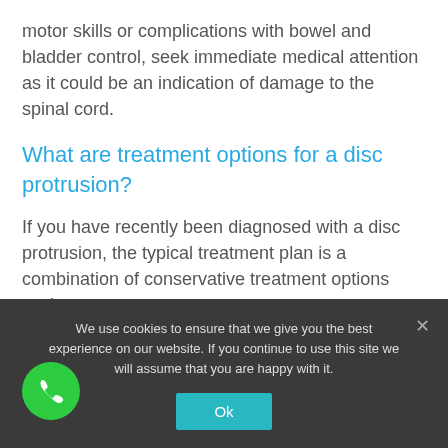motor skills or complications with bowel and bladder control, seek immediate medical attention as it could be an indication of damage to the spinal cord.
What are treatment options for a disc protrusion?
If you have recently been diagnosed with a disc protrusion, the typical treatment plan is a combination of conservative treatment options such as:
Heat and ice therapy
We use cookies to ensure that we give you the best experience on our website. If you continue to use this site we will assume that you are happy with it.